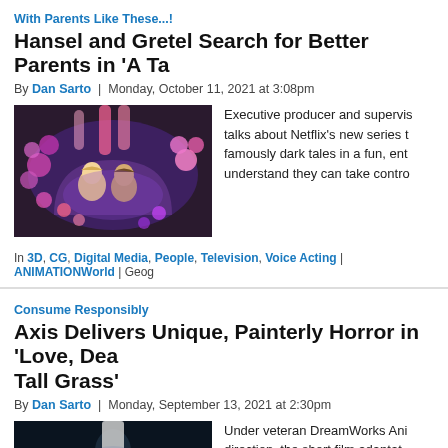With Parents Like These...!
Hansel and Gretel Search for Better Parents in 'A Ta
By Dan Sarto | Monday, October 11, 2021 at 3:08pm
[Figure (photo): Animated scene showing two child characters looking out from a candy house window]
Executive producer and supervis talks about Netflix's new series t famously dark tales in a fun, ent understand they can take contro
In 3D, CG, Digital Media, People, Television, Voice Acting | ANIMATIONWorld | Geog
Consume Responsibly
Axis Delivers Unique, Painterly Horror in 'Love, Dea Tall Grass'
By Dan Sarto | Monday, September 13, 2021 at 2:30pm
[Figure (photo): Dark scene from animated short film showing a character in shadowed environment]
Under veteran DreamWorks Ani direction, the short film adaptat Lovecraftian story treats every f